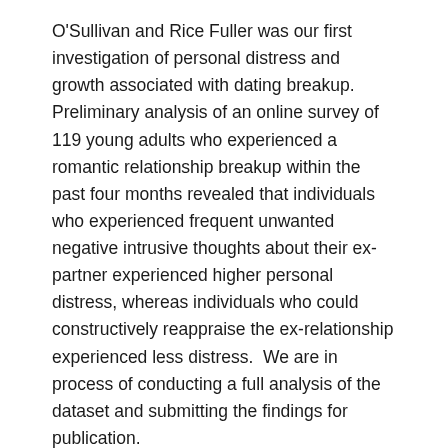O'Sullivan and Rice Fuller was our first investigation of personal distress and growth associated with dating breakup.  Preliminary analysis of an online survey of 119 young adults who experienced a romantic relationship breakup within the past four months revealed that individuals who experienced frequent unwanted negative intrusive thoughts about their ex-partner experienced higher personal distress, whereas individuals who could constructively reappraise the ex-relationship experienced less distress.  We are in process of conducting a full analysis of the dataset and submitting the findings for publication.
5.  New Brunswick family physician telephone interview
The first point of contact for the majority of